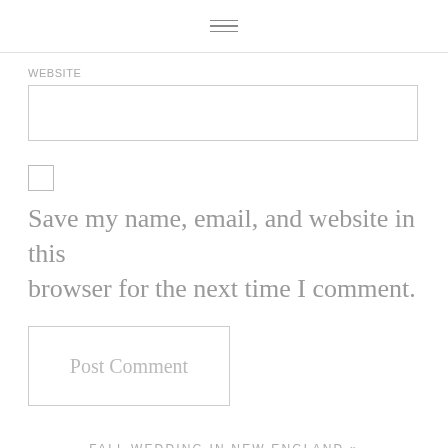WEBSITE
Save my name, email, and website in this browser for the next time I comment.
Post Comment
FALL WEDDING IN NEW ENGLAND »